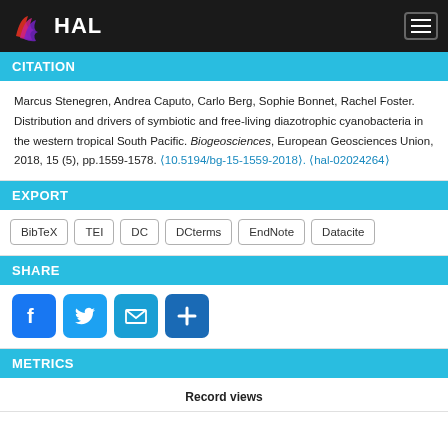HAL
CITATION
Marcus Stenegren, Andrea Caputo, Carlo Berg, Sophie Bonnet, Rachel Foster. Distribution and drivers of symbiotic and free-living diazotrophic cyanobacteria in the western tropical South Pacific. Biogeosciences, European Geosciences Union, 2018, 15 (5), pp.1559-1578. ⟨10.5194/bg-15-1559-2018⟩. ⟨hal-02024264⟩
EXPORT
BibTeX
TEI
DC
DCterms
EndNote
Datacite
SHARE
[Figure (infographic): Social share icons: Facebook, Twitter, Email, Plus]
METRICS
Record views